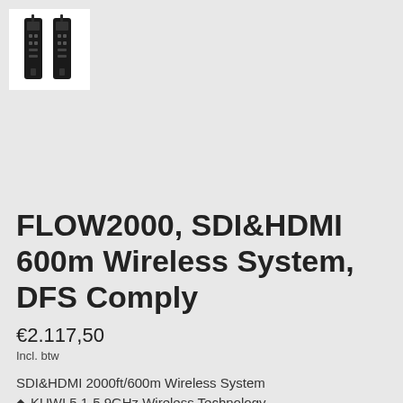[Figure (photo): Product image of FLOW2000 wireless system showing two black transmitter/receiver devices side by side on white background]
FLOW2000, SDI&HDMI 600m Wireless System, DFS Comply
€2.117,50
Incl. btw
SDI&HDMI 2000ft/600m Wireless System
KUWI 5.1-5.9GHz Wireless Technology